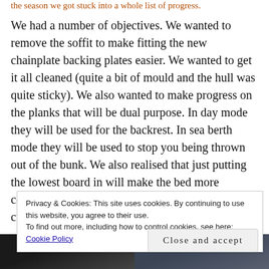the season we got stuck into a whole list of progress.
We had a number of objectives. We wanted to remove the soffit to make fitting the new chainplate backing plates easier. We wanted to get it all cleaned (quite a bit of mould and the hull was quite sticky). We also wanted to make progress on the planks that will be dual purpose. In day mode they will be used for the backrest. In sea berth mode they will be used to stop you being thrown out of the bunk. We also realised that just putting the lowest board in will make the bed more comfortable even when not at sea by holding the cushions in tight.
Privacy & Cookies: This site uses cookies. By continuing to use this website, you agree to their use.
To find out more, including how to control cookies, see here: Cookie Policy
Close and accept
[Figure (photo): Two dark photos side by side at the bottom of the page, showing boat interior or similar scene.]